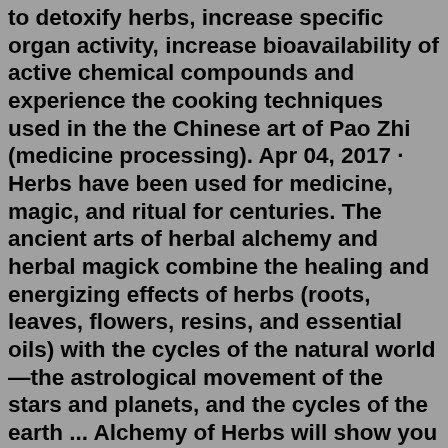to detoxify herbs, increase specific organ activity, increase bioavailability of active chemical compounds and experience the cooking techniques used in the the Chinese art of Pao Zhi (medicine processing). Apr 04, 2017 · Herbs have been used for medicine, magic, and ritual for centuries. The ancient arts of herbal alchemy and herbal magick combine the healing and energizing effects of herbs (roots, leaves, flowers, resins, and essential oils) with the cycles of the natural world—the astrological movement of the stars and planets, and the cycles of the earth ... Alchemy of Herbs will show you how to transform common ingredients into foods and remedies that heal. What were once everyday flavorings will become your personal kitchen apothecary. While using herbs can often seem complicated or costly, this book offers a way to learn that's as simple and inexpensive as cooking dinner. Alchemy of Herbs by Rosalee De La Foret is for the reader who really wants to dive into the medicinal benefits of each herb, as this was the resource I found with the most specific information